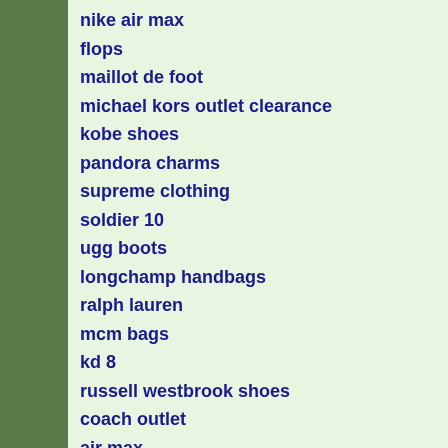nike air max
flops
maillot de foot
michael kors outlet clearance
kobe shoes
pandora charms
supreme clothing
soldier 10
ugg boots
longchamp handbags
ralph lauren
mcm bags
kd 8
russell westbrook shoes
coach outlet
air max
adidas ultra boost